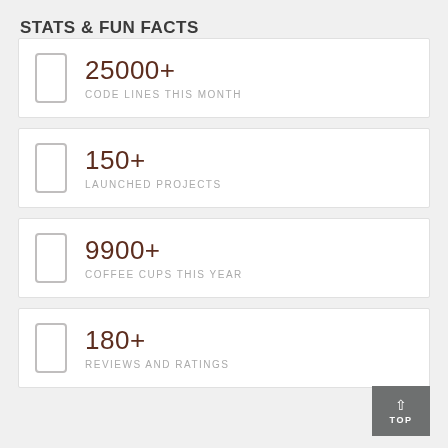STATS & FUN FACTS
25000+
CODE LINES THIS MONTH
150+
LAUNCHED PROJECTS
9900+
COFFEE CUPS THIS YEAR
180+
REVIEWS AND RATINGS